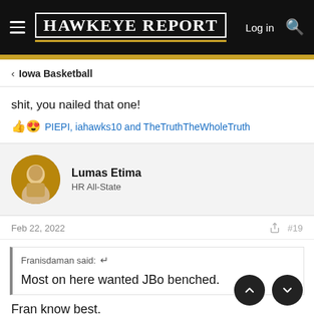Hawkeye Report | Log in
Iowa Basketball
shit, you nailed that one!
PIEPI, iahawks10 and TheTruthTheWholeTruth
Lumas Etima
HR All-State
Feb 22, 2022  #19
Franisdaman said: ↩

Most on here wanted JBo benched.

Fran know best.